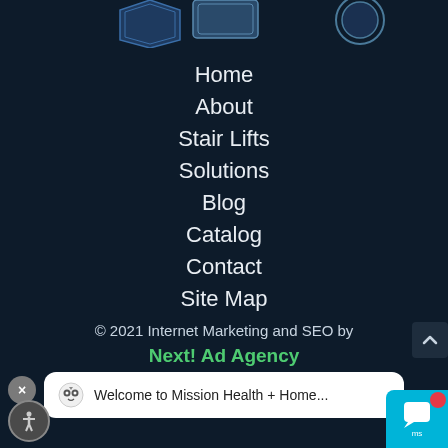[Figure (illustration): Partial tops of three badge/seal icons visible at the very top of the page on dark background]
Home
About
Stair Lifts
Solutions
Blog
Catalog
Contact
Site Map
© 2021 Internet Marketing and SEO by Next! Ad Agency
[Figure (screenshot): Notification popup bubble showing owl icon and text: Welcome to Mission Health + Home...]
[Figure (screenshot): Blue chat widget button with red notification badge and close X button]